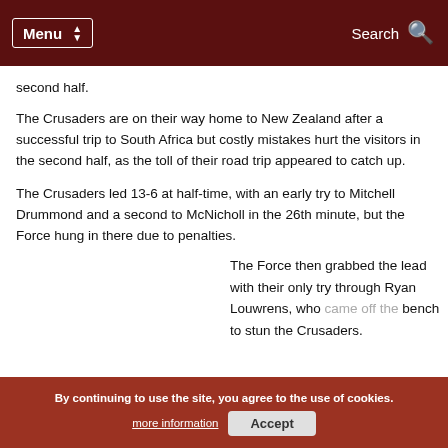Menu  Search
second half.
The Crusaders are on their way home to New Zealand after a successful trip to South Africa but costly mistakes hurt the visitors in the second half, as the toll of their road trip appeared to catch up.
The Crusaders led 13-6 at half-time, with an early try to Mitchell Drummond and a second to McNicholl in the 26th minute, but the Force hung in there due to penalties.
The Force then grabbed the lead with their only try through Ryan Louwrens, who came off the bench to stun the Crusaders.
By continuing to use the site, you agree to the use of cookies. more information  Accept